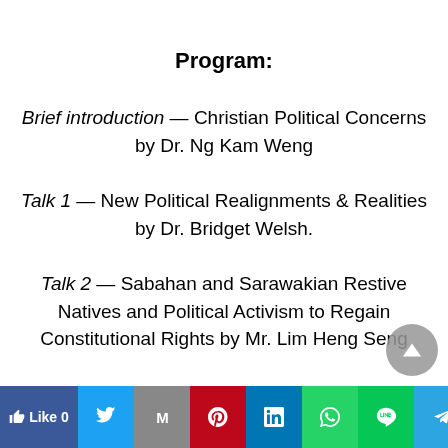Program:
Brief introduction — Christian Political Concerns by Dr. Ng Kam Weng
Talk 1 — New Political Realignments & Realities by Dr. Bridget Welsh.
Talk 2 — Sabahan and Sarawakian Restive Natives and Political Activism to Regain Constitutional Rights by Mr. Lim Heng Seng
Talk 3 — Civil Society & Recent developments in